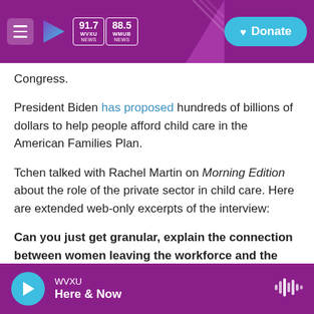91.7 WVXU NEWS | 88.5 WMUB NEWS | Donate
Congress.
President Biden has proposed hundreds of billions of dollars to help people afford child care in the American Families Plan.
Tchen talked with Rachel Martin on Morning Edition about the role of the private sector in child care. Here are extended web-only excerpts of the interview:
Can you just get granular, explain the connection between women leaving the workforce and the lack of child care?
WVXU | Here & Now